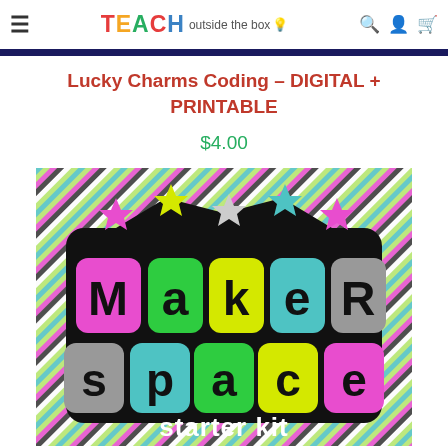≡  TEACH outside the box 💡  🔍 👤 🛒
Lucky Charms Coding – DIGITAL + PRINTABLE
$4.00
[Figure (photo): Makerspace Starter Kit product cover image with colorful letters on black background with diagonal stripe pattern]